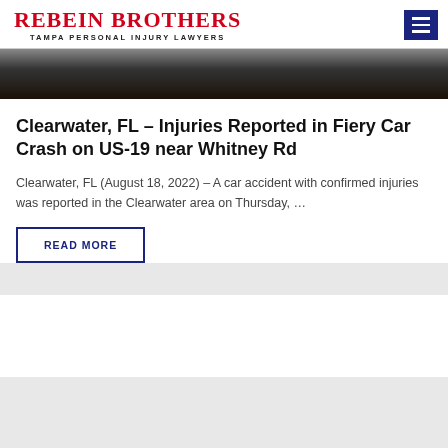REBEIN BROTHERS TAMPA PERSONAL INJURY LAWYERS
[Figure (photo): Dark car crash scene photo, mostly dark/black tones]
Clearwater, FL – Injuries Reported in Fiery Car Crash on US-19 near Whitney Rd
Clearwater, FL (August 18, 2022) – A car accident with confirmed injuries was reported in the Clearwater area on Thursday, …
READ MORE